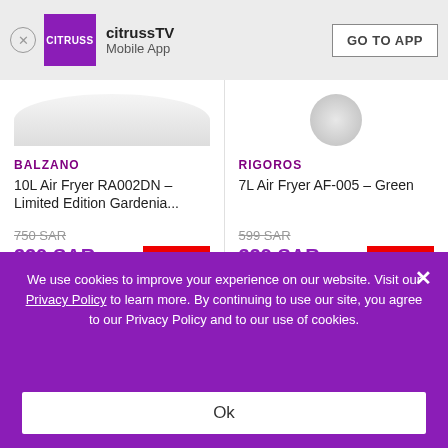citrussTV Mobile App — GO TO APP
[Figure (photo): Partial product image of Balzano 10L Air Fryer (top portion visible)]
[Figure (photo): Partial product image of Rigoros 7L Air Fryer (top portion visible, circular grille visible)]
BALZANO
10L Air Fryer RA002DN - Limited Edition Gardenia...
750 SAR
329 SAR
56% OFF
RIGOROS
7L Air Fryer AF-005 - Green
599 SAR
329 SAR
45% OFF
Add to Cart
Add to Cart
We use cookies to improve your experience on our website. Visit our Privacy Policy to learn more. By continuing to use our site, you agree to our Privacy Policy and to our use of cookies.
Ok